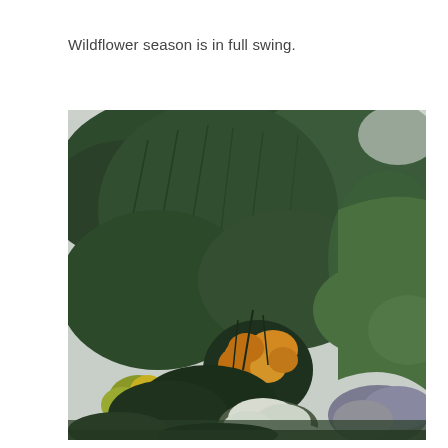Wildflower season is in full swing.
[Figure (photo): Outdoor nature photograph showing dense green trees and shrubs on a hillside, with a prominent shrub displaying bright yellow-orange wildflowers in the center, and white and purple flowering plants visible in the lower foreground. The sky is overcast and light grey.]